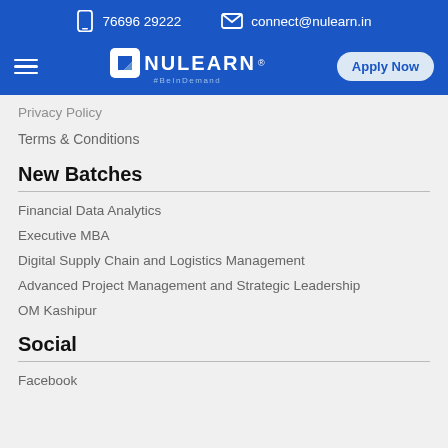76696 29222   connect@nulearn.in
[Figure (logo): NuLearn logo with #BeInDemand tagline and Apply Now button in blue navigation bar]
Privacy Policy
Terms & Conditions
New Batches
Financial Data Analytics
Executive MBA
Digital Supply Chain and Logistics Management
Advanced Project Management and Strategic Leadership
OM Kashipur
Social
Facebook